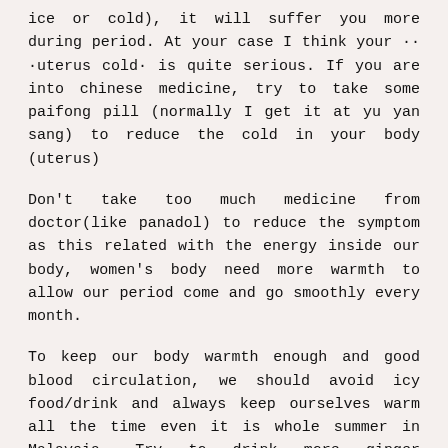ice or cold), it will suffer you more during period. At your case I think your ·· ·uterus cold· is quite serious. If you are into chinese medicine, try to take some paifong pill (normally I get it at yu yan sang) to reduce the cold in your body (uterus)
Don't take too much medicine from doctor(like panadol) to reduce the symptom as this related with the energy inside our body, women's body need more warmth to allow our period come and go smoothly every month.
To keep our body warmth enough and good blood circulation, we should avoid icy food/drink and always keep ourselves warm all the time even it is whole summer in Malaysia. Try to drink more ginger drink/herbal soup or the one you mentioned (molasses) or we say as brown sugar in chinese which improve blood circulation.
Lastly I would also advice not to bath/wash your hair late